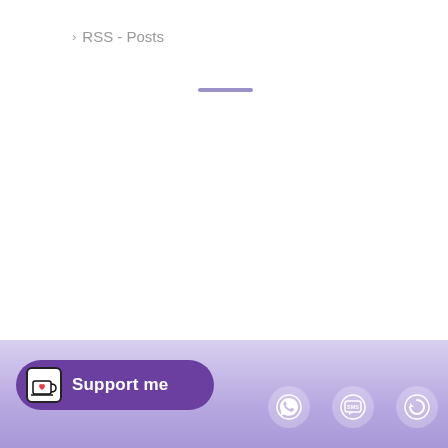> RSS - Posts
[Figure (other): Purple horizontal divider bar]
Support me | WhatsApp icon | SMS icon | Refresh/sync icon